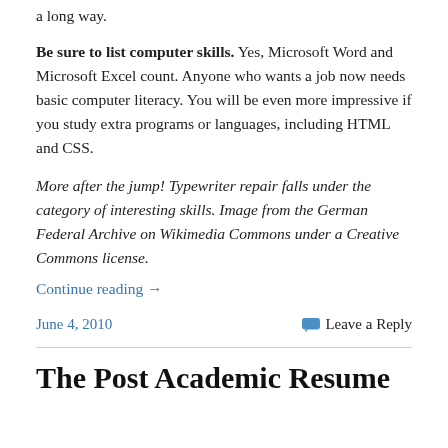a long way.
Be sure to list computer skills. Yes, Microsoft Word and Microsoft Excel count. Anyone who wants a job now needs basic computer literacy. You will be even more impressive if you study extra programs or languages, including HTML and CSS.
More after the jump! Typewriter repair falls under the category of interesting skills. Image from the German Federal Archive on Wikimedia Commons under a Creative Commons license.
Continue reading →
June 4, 2010
Leave a Reply
The Post Academic Resume